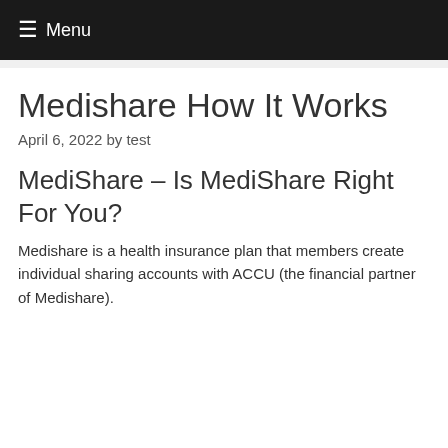☰ Menu
Medishare How It Works
April 6, 2022 by test
MediShare – Is MediShare Right For You?
Medishare is a health insurance plan that members create individual sharing accounts with ACCU (the financial partner of Medishare).